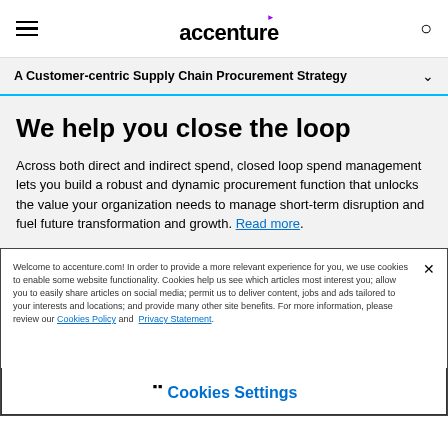accenture
A Customer-centric Supply Chain Procurement Strategy
We help you close the loop
Across both direct and indirect spend, closed loop spend management lets you build a robust and dynamic procurement function that unlocks the value your organization needs to manage short-term disruption and fuel future transformation and growth. Read more.
Welcome to accenture.com! In order to provide a more relevant experience for you, we use cookies to enable some website functionality. Cookies help us see which articles most interest you; allow you to easily share articles on social media; permit us to deliver content, jobs and ads tailored to your interests and locations; and provide many other site benefits. For more information, please review our Cookies Policy and Privacy Statement.
Cookies Settings